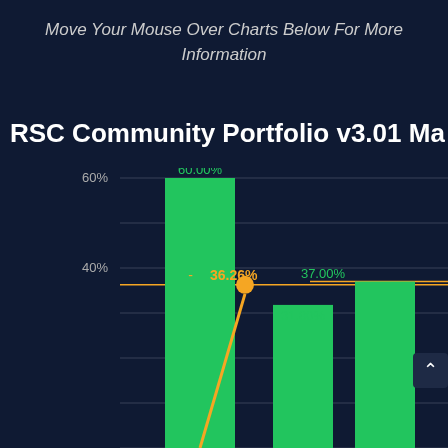Move Your Mouse Over Charts Below For More Information
RSC Community Portfolio v3.01 Ma
[Figure (bar-chart): RSC Community Portfolio v3.01 Ma]